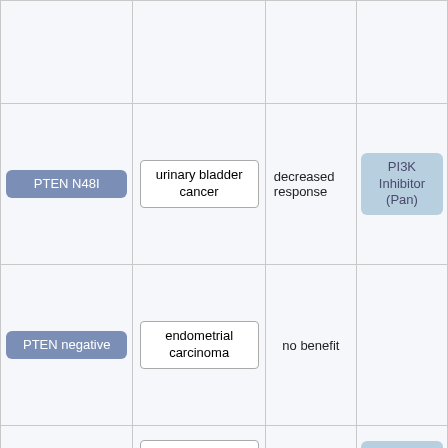| Biomarker | Cancer Type | Response | Drug |
| --- | --- | --- | --- |
|  |  |  |  |
| PTEN N48I | urinary bladder cancer | decreased response | PI3K Inhibitor (Pan) |
| PTEN negative | endometrial carcinoma | no benefit |  |
| PTEN negative | endometrial carcinoma | sensitive | PI3K Inhibitor |